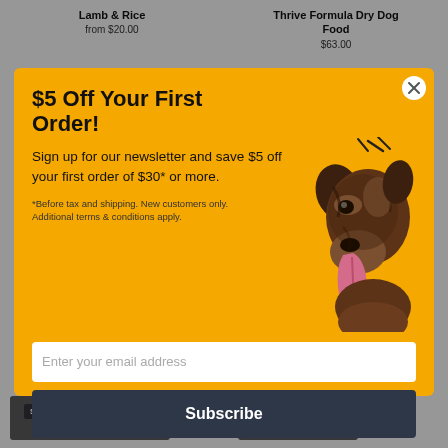Lamb & Rice
from $20.00
Thrive Formula Dry Dog Food
$63.00
$5 Off Your First Order!
Sign up for our newsletter and save $5 off your first order of $30* or more.
[Figure (photo): Dog with tongue out, golden shepherd mix, facing right]
*Before tax and shipping. New customers only. Additional terms & conditions apply.
Enter your email address
Subscribe
Sold Out